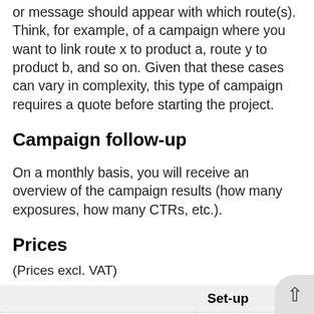A customised campaign will let you decide which banner or message should appear with which route(s). Think, for example, of a campaign where you want to link route x to product a, route y to product b, and so on. Given that these cases can vary in complexity, this type of campaign requires a quote before starting the project.
Campaign follow-up
On a monthly basis, you will receive an overview of the campaign results (how many exposures, how many CTRs, etc.).
Prices
(Prices excl. VAT)
|  | Set-up |
| --- | --- |
| MyRouteYou basic campaign with | € 250 |